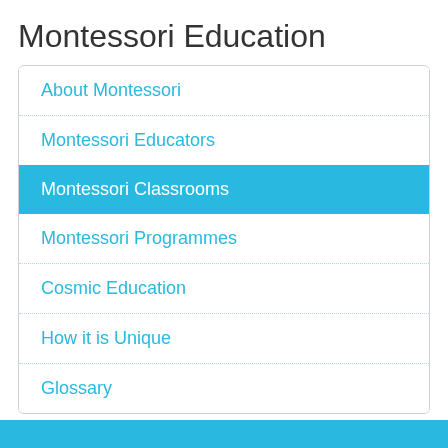Montessori Education
About Montessori
Montessori Educators
Montessori Classrooms
Montessori Programmes
Cosmic Education
How it is Unique
Glossary